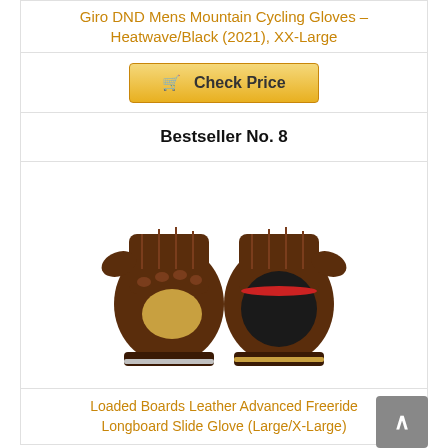Giro DND Mens Mountain Cycling Gloves – Heatwave/Black (2021), XX-Large
Check Price
Bestseller No. 8
[Figure (photo): Two brown leather longboard slide gloves with tan palm panels and wrist straps, one showing a circular puck attachment on palm]
Loaded Boards Leather Advanced Freeride Longboard Slide Glove (Large/X-Large)